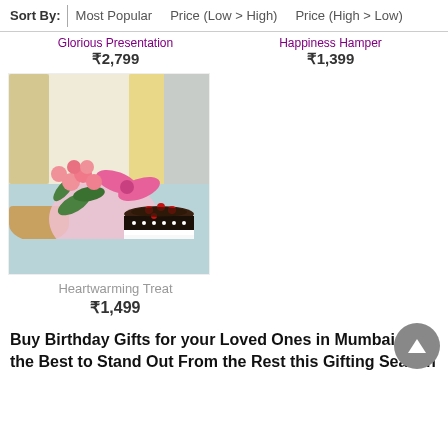Sort By: | Most Popular | Price (Low > High) | Price (High > Low)
Glorious Presentation
₹2,799
Happiness Hamper
₹1,399
[Figure (photo): Photo of a flower bouquet with pink roses wrapped in pink tissue paper with a bow, alongside a black forest cake on a blue background]
Heartwarming Treat
₹1,499
Buy Birthday Gifts for your Loved Ones in Mumbai from the Best to Stand Out From the Rest this Gifting Season